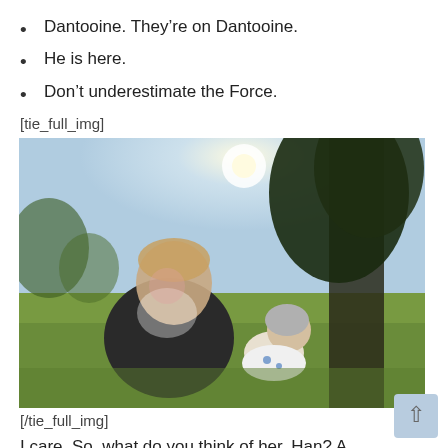Dantooine. They're on Dantooine.
He is here.
Don't underestimate the Force.
[tie_full_img]
[Figure (photo): A person sitting on grass leaning over a baby wearing a knit hat, outdoors with trees and sunlight in the background.]
[/tie_full_img]
I care. So, what do you think of her, Han? A tremor in the Force. The last time I felt it was in